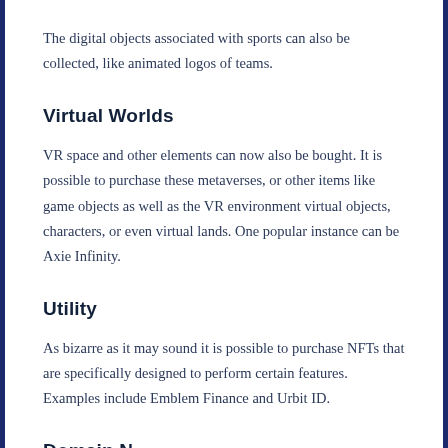The digital objects associated with sports can also be collected, like animated logos of teams.
Virtual Worlds
VR space and other elements can now also be bought. It is possible to purchase these metaverses, or other items like game objects as well as the VR environment virtual objects, characters, or even virtual lands. One popular instance can be Axie Infinity.
Utility
As bizarre as it may sound it is possible to purchase NFTs that are specifically designed to perform certain features. Examples include Emblem Finance and Urbit ID.
Domain Names